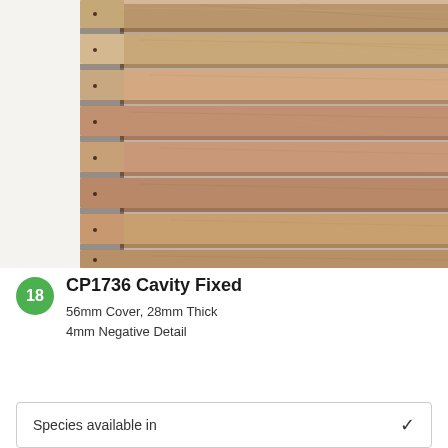[Figure (photo): Close-up photo of stacked timber cladding boards showing horizontal layering with shadow lines revealing the cavity fixed profile. The wood displays natural grain variations in warm tan, light brown, and reddish-brown tones. The left edge shows the board ends with small fixing holes visible.]
CP1736 Cavity Fixed
56mm Cover, 28mm Thick
4mm Negative Detail
Species available in